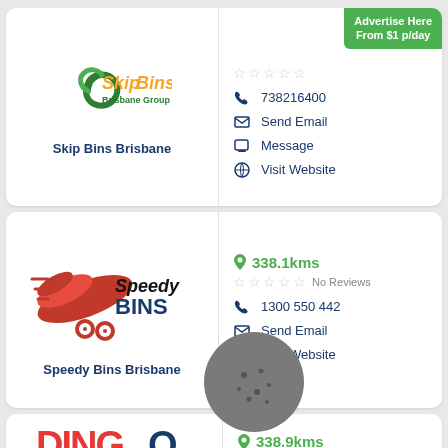[Figure (logo): Skip Bins Brisbane Group Pty Ltd logo with green swirl and orange/green text]
Skip Bins Brisbane
Advertise Here From $1 p/day
738216400
Send Email
Message
Visit Website
338.1kms
[Figure (logo): Speedy Bins logo with red bird/wing graphic and black/blue text]
Speedy Bins Brisbane
No Reviews
1300 550 442
Send Email
Visit Website
338.9kms
[Figure (logo): Dingo logo partially visible at bottom]